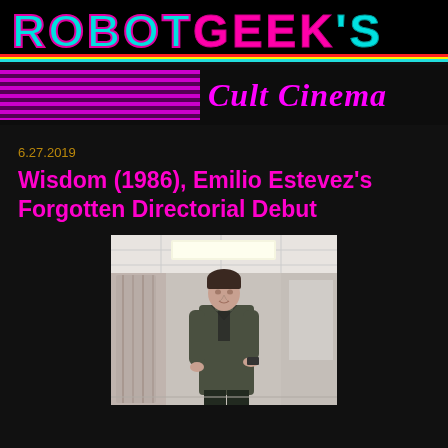ROBOTGEEK'S
Cult Cinema
6.27.2019
Wisdom (1986), Emilio Estevez's Forgotten Directorial Debut
[Figure (photo): A man in a military-style green jacket standing in a room, holding what appears to a small object, with curtains and office ceiling tiles visible in the background.]